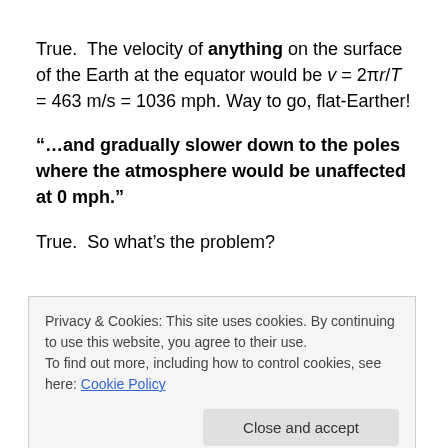True.  The velocity of anything on the surface of the Earth at the equator would be v = 2πr/T = 463 m/s = 1036 mph.  Way to go, flat-Earther!
“…and gradually slower down to the poles where the atmosphere would be unaffected at 0 mph.”
True.  So what’s the problem?
“  this alleged force  [is] proven non-existent by the
Privacy & Cookies: This site uses cookies. By continuing to use this website, you agree to their use.
To find out more, including how to control cookies, see here: Cookie Policy
Close and accept